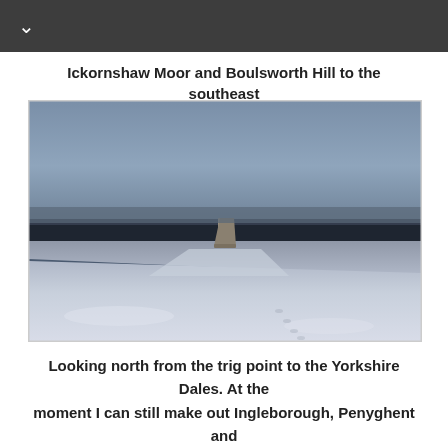∨
Ickornshaw Moor and Boulsworth Hill to the southeast
[Figure (photo): A snowy moorland scene. A trig point pillar stands in the centre of a snow-covered moorland summit. The sky is overcast grey-blue. Dark moorland stretches to the horizon. Snow covers the foreground ground with footprints visible.]
Looking north from the trig point to the Yorkshire Dales. At the moment I can still make out Ingleborough, Penyghent and